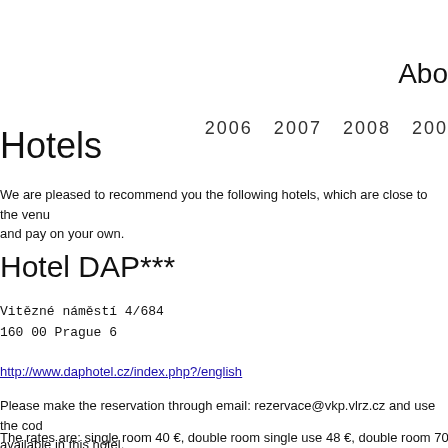Abo
2006  2007  2008  200
Hotels
We are pleased to recommend you the following hotels, which are close to the venu and pay on your own.
Hotel DAP***
Vitězné náměstí 4/684
160 00 Prague 6
http://www.daphotel.cz/index.php?/english
Please make the reservation through email: rezervace@vkp.vlrz.cz and use the cod available in this hotel.
The rates are: single room 40 €, double room single use 48 €, double room 70 € + lo
ESUG board will be located to this place.